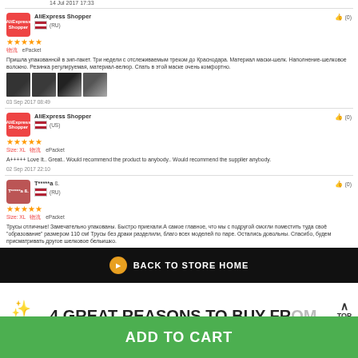14 Jul 2017 17:33
AliExpress Shopper
(RU)
★★★★★
物流 ePacket
Пришла упакованной в зип-пакет. Три недели с отслеживаемым треком до Краснодара. Материал маски-шелк. Наполнение-шелковое волокно. Резинка регулируемая, материал-велюр. Спать в этой маске очень комфортно.
03 Sep 2017 08:49
AliExpress Shopper
(US)
★★★★★
Size: XL 物流 ePacket
A+++++ Love It.. Great.. Would recommend the product to anybody.. Would recommend the supplier anybody.
02 Sep 2017 22:10
T*****а ß.
(RU)
★★★★★
Size: XL 物流 ePacket
Трусы отличные! Замечательно упакованы. Быстро приехали.А самое главное, что мы с подругой смогли поместить туда своё "образование" размером 110 см! Трусы без драки разделили, благо всех моделей по паре. Остались довольны. Спасибо, будем присматривать другое шелковое бельишко.
10 Sep 2017 02:10
BACK TO STORE HOME
4 GREAT REASONS TO BUY FROM US:
ADD TO CART